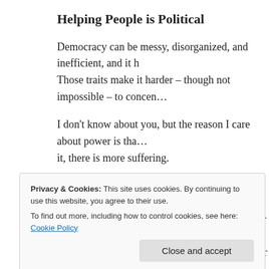Helping People is Political
Democracy can be messy, disorganized, and inefficient, and it h… Those traits make it harder – though not impossible – to concen…
I don't know about you, but the reason I care about power is tha… it, there is more suffering.
There is a virtuous cycle connecting my colleague's email and t… whatever reduces suffering makes it possible for more people to… when more people have a meaningful role in our democracy, the…
What you do matters
Privacy & Cookies: This site uses cookies. By continuing to use this website, you agree to their use.
To find out more, including how to control cookies, see here: Cookie Policy
… month. I wrote about our national heritage of se… gg… things b… s … worse if we don't all dig in and work for the good of the democra…
As of January 20th, on a national scale one party will control t…